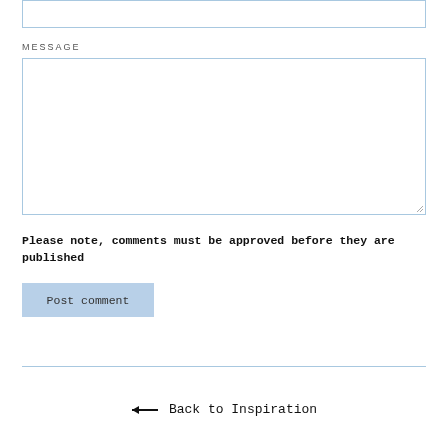[Figure (screenshot): Empty input text box at top of page with light blue border]
MESSAGE
[Figure (screenshot): Large empty textarea with light blue border and resize handle at bottom right]
Please note, comments must be approved before they are published
[Figure (screenshot): Light blue 'Post comment' button]
[Figure (screenshot): Horizontal divider line]
← Back to Inspiration